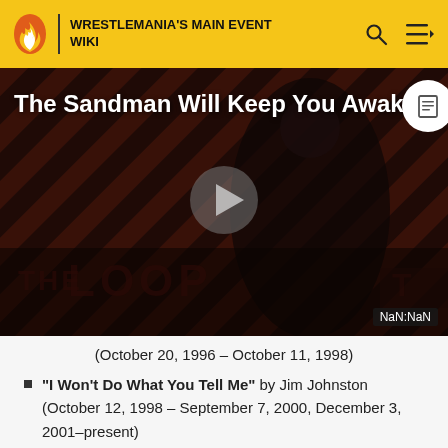WRESTLEMANIA'S MAIN EVENT WIKI
[Figure (screenshot): Video player thumbnail showing a dark figure against a striped red/brown background with text 'The Sandman Will Keep You Awake.' and 'THE LOOP' watermark. A play button is centered. NaN:NaN timestamp shown.]
(October 20, 1996 – October 11, 1998)
"I Won't Do What You Tell Me" by Jim Johnston (October 12, 1998 – September 7, 2000, December 3, 2001–present)
"Glass Shatters" by Disturbed (September